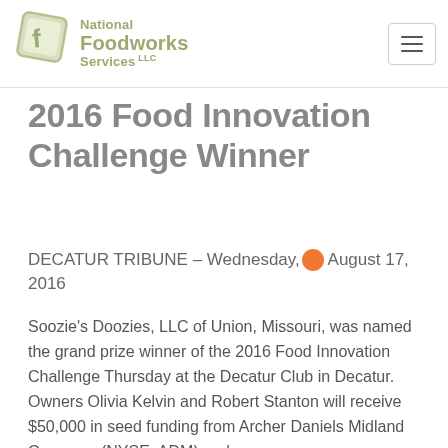National Foodworks Services LLC
2016 Food Innovation Challenge Winner
DECATUR TRIBUNE – Wednesday, August 17, 2016
Soozie's Doozies, LLC of Union, Missouri, was named the grand prize winner of the 2016 Food Innovation Challenge Thursday at the Decatur Club in Decatur.
Owners Olivia Kelvin and Robert Stanton will receive $50,000 in seed funding from Archer Daniels Midland Company (NYSE: ADM) and